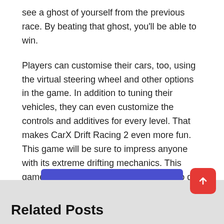see a ghost of yourself from the previous race. By beating that ghost, you'll be able to win.
Players can customise their cars, too, using the virtual steering wheel and other options in the game. In addition to tuning their vehicles, they can even customize the controls and additives for every level. That makes CarX Drift Racing 2 even more fun. This game will be sure to impress anyone with its extreme drifting mechanics. This game is sure to be a hit, so make sure to get it today!
[Figure (other): Blue download button with white bold text 'Download']
Related Posts